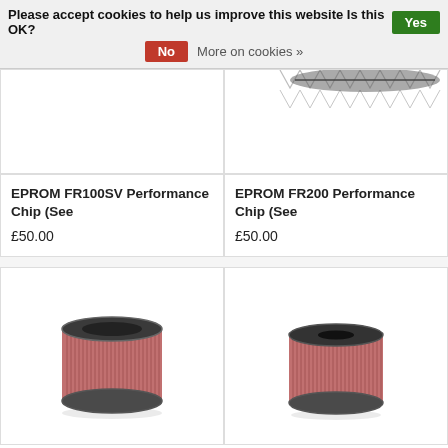Please accept cookies to help us improve this website Is this OK? Yes | No | More on cookies »
[Figure (photo): Partial product image top-left (partially visible, appears to be a performance chip)]
[Figure (photo): Partial product image top-right (partially visible, shows spiral/ribbed pattern)]
EPROM FR100SV Performance Chip (See
£50.00
EPROM FR200 Performance Chip (See
£50.00
[Figure (photo): Cylindrical air filter with red/pink pleated filter media and dark metal end caps - left product]
[Figure (photo): Cylindrical air filter with red/pink pleated filter media and dark metal end caps - right product]